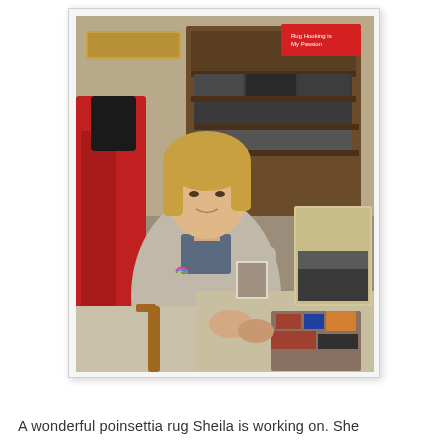[Figure (photo): A woman with short blonde hair wearing a light gray fleece jacket sits at a table in what appears to be a craft or rug-hooking shop. She is working on a rug laid out on the table in front of her. Behind her is a wooden cabinet filled with folded dark fabrics/wool. A red coat hangs to the left. Various craft supplies and signs are visible in the background.]
A wonderful poinsettia rug Sheila is working on. She